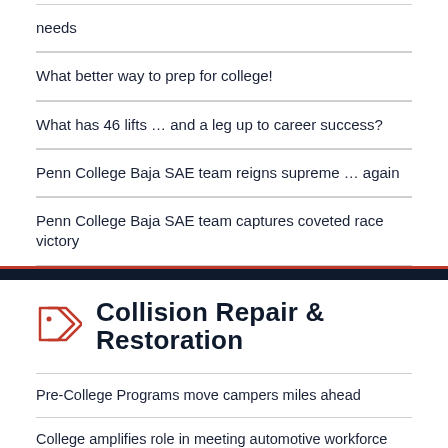needs
What better way to prep for college!
What has 46 lifts … and a leg up to career success?
Penn College Baja SAE team reigns supreme … again
Penn College Baja SAE team captures coveted race victory
Collision Repair & Restoration
Pre-College Programs move campers miles ahead
College amplifies role in meeting automotive workforce needs
'Culture Cafe' returns travel to academic menu